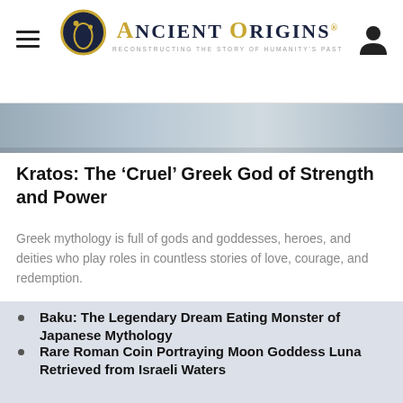Ancient Origins — Reconstructing the Story of Humanity's Past
[Figure (photo): Cropped image strip showing partial photograph]
Kratos: The 'Cruel' Greek God of Strength and Power
Greek mythology is full of gods and goddesses, heroes, and deities who play roles in countless stories of love, courage, and redemption.
Baku: The Legendary Dream Eating Monster of Japanese Mythology
Rare Roman Coin Portraying Moon Goddess Luna Retrieved from Israeli Waters
The Disc of Life in Ancient Texts
The Nine Unknown Men: An Ancient Indian Secret Society
The Lamia of Ancient Greek Mythology: The Original Bogeyman